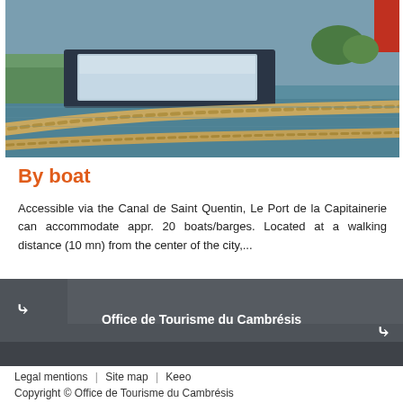[Figure (photo): Photo of a boat/barge at a harbor with thick ropes in the foreground and water in the background, with a red flag visible on the right.]
By boat
Accessible via the Canal de Saint Quentin, Le Port de la Capitainerie can accommodate appr. 20 boats/barges. Located at a walking distance (10 mn) from the center of the city,...
Office de Tourisme du Cambrésis
Legal mentions | Site map | Keeo
Copyright © Office de Tourisme du Cambrésis